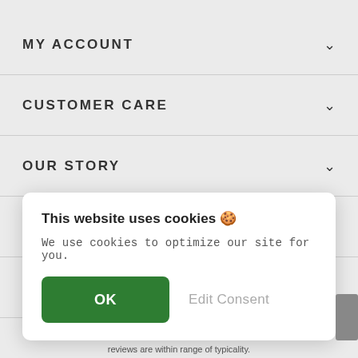MY ACCOUNT
CUSTOMER CARE
OUR STORY
OUR COMPANY
CONTACT US
This website uses cookies 🍪
We use cookies to optimize our site for you.
OK  Edit Consent
reviews are within range of typicality.